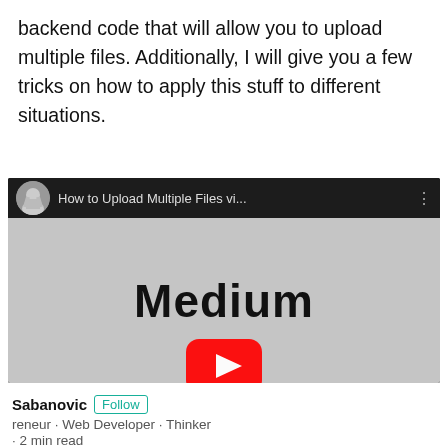backend code that will allow you to upload multiple files. Additionally, I will give you a few tricks on how to apply this stuff to different situations.
[Figure (screenshot): YouTube video thumbnail showing 'How to Upload Multiple Files vi...' with Medium branding and avatar in a dark top bar, gray body area showing 'Medium' text in bold]
Sabanovic Follow
reneur - Web Developer - Thinker
· 2 min read
Upload Multiple Files via Ajax and Laravel 5.5) — File Managem
tarted using VueJs, it was a nightmare to find a decent tut load a single file using A[...]one a tutorial explaining
aple files.